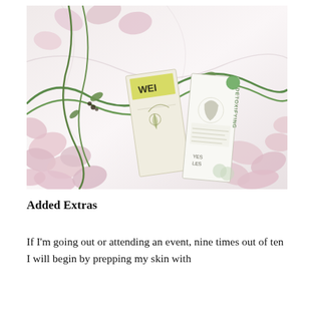[Figure (photo): A flatlay photograph showing skincare product packaging (WEI brand items including a detoxifying face mask with botanical illustrations) surrounded by pink cherry blossom flowers on a white marble surface.]
Added Extras
If I'm going out or attending an event, nine times out of ten I will begin by prepping my skin with